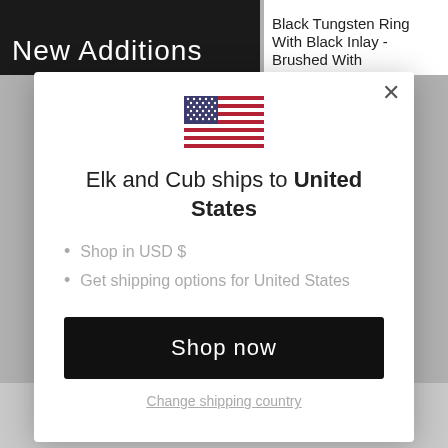[Figure (screenshot): Background of e-commerce website showing 'New Additions' header and product title 'Black Tungsten Ring With Black Inlay - Brushed With']
[Figure (illustration): US flag SVG illustration used in modal dialog]
Elk and Cub ships to United States
Shop in USD $
Get shipping options for United States
Shop now
Change shipping country
$89 $69
$249 $129